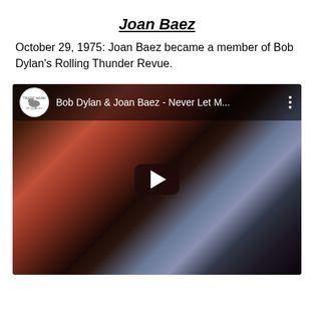Joan Baez
October 29, 1975: Joan Baez became a member of Bob Dylan's Rolling Thunder Revue.
[Figure (screenshot): YouTube video thumbnail showing Bob Dylan and Joan Baez performing together, with title bar reading 'Bob Dylan & Joan Baez - Never Let M...' and a play button in the center.]